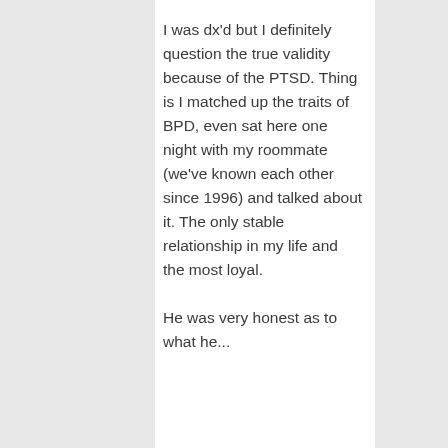I was dx'd but I definitely question the true validity because of the PTSD. Thing is I matched up the traits of BPD, even sat here one night with my roommate (we've known each other since 1996) and talked about it. The only stable relationship in my life and the most loyal.
He was very honest as to what he...